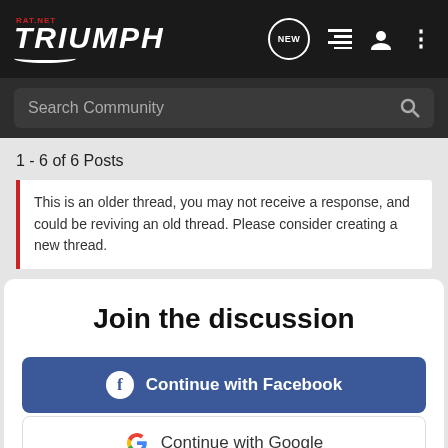TRIUMPH RAT.NET navigation bar with NEW, list, user, and menu icons
Search Community
1 - 6 of 6 Posts
This is an older thread, you may not receive a response, and could be reviving an old thread. Please consider creating a new thread.
Join the discussion
Continue with Facebook
Continue with Google
or sign up with email